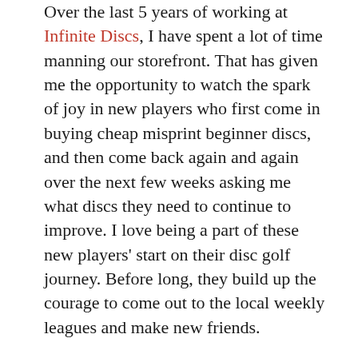Over the last 5 years of working at Infinite Discs, I have spent a lot of time manning our storefront. That has given me the opportunity to watch the spark of joy in new players who first come in buying cheap misprint beginner discs, and then come back again and again over the next few weeks asking me what discs they need to continue to improve. I love being a part of these new players' start on their disc golf journey. Before long, they build up the courage to come out to the local weekly leagues and make new friends.
And then, there is a common trip to the shop that usually happens a few months after the first visit. These new players walk in with their first putters and favorite drivers and ask me, “Okay, what is the (Insert disc manufacturer here) version of this disc?”
I usually respond with a few similar discs, but I try to explain to them that if they like the disc they are